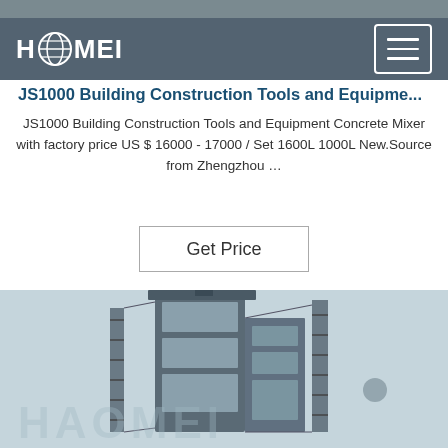[Figure (screenshot): Haomei brand website screenshot showing logo, navigation, product title, description text, Get Price button, and industrial machinery photo]
HAOMEI
JS1000 Building Construction Tools and Equipme...
JS1000 Building Construction Tools and Equipment Concrete Mixer with factory price US $ 16000 - 17000 / Set 1600L 1000L New.Source from Zhengzhou ...
[Figure (photo): Industrial concrete plant/mixing tower photographed from below against light sky, with Haomei watermark logo overlay]